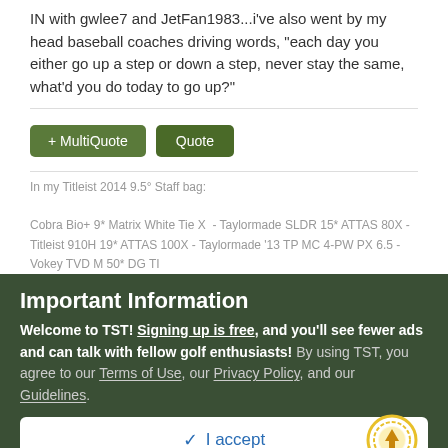IN with gwlee7 and JetFan1983...i've also went by my head baseball coaches driving words, "each day you either go up a step or down a step, never stay the same, what'd you do today to go up?"
In my Titleist 2014 9.5° Staff bag:
Cobra Bio+ 9* Matrix White Tie X  - Taylormade SLDR 15* ATTAS 80X - Titleist 910H 19* ATTAS 100X - Taylormade '13 TP MC 4-PW PX 6.5 - Vokey TVD M 50* DG TI
Important Information
Welcome to TST! Signing up is free, and you'll see fewer ads and can talk with fellow golf enthusiasts! By using TST, you agree to our Terms of Use, our Privacy Policy, and our Guidelines.
✓  I accept